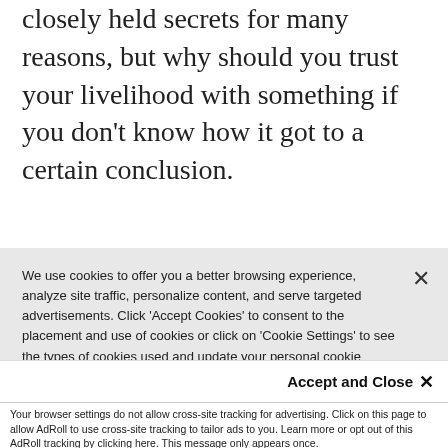closely held secrets for many reasons, but why should you trust your livelihood with something if you don't know how it got to a certain conclusion.
Furthermore, if you can't get a good look at the model, how do you know what levers to pull to achieve a desired outcome? Short answer: you
We use cookies to offer you a better browsing experience, analyze site traffic, personalize content, and serve targeted advertisements. Click 'Accept Cookies' to consent to the placement and use of cookies or click on 'Cookie Settings' to see the types of cookies used and update your personal cookie preferences while on the site. We will handle your contact details in line with our Privacy Policy.
Accept and Close ✕
Your browser settings do not allow cross-site tracking for advertising. Click on this page to allow AdRoll to use cross-site tracking to tailor ads to you. Learn more or opt out of this AdRoll tracking by clicking here. This message only appears once.